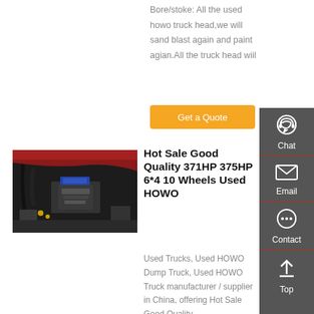Bore/stoke: All the used howo truck head,we will sand blast again and paint agian.All the truck head wiil
Get a Quote
[Figure (photo): Engine compartment of a HOWO truck showing components, dark colored vehicle with red interior hood.]
Hot Sale Good Quality 371HP 375HP 6*4 10 Wheels Used HOWO
Used Trucks, Used HOWO Dump Truck, Used HOWO Truck manufacturer / supplier in China, offering Hot Sale Good Quality